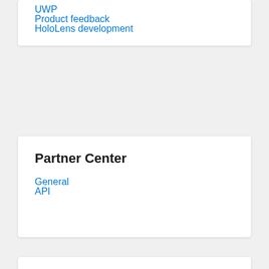UWP
Product feedback
HoloLens development
Partner Center
General
API
Other
WPF
Windows Forms
WCF
Windows IoT Core
Windows More